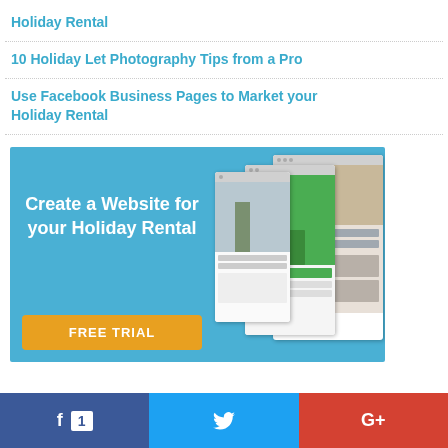Holiday Rental
10 Holiday Let Photography Tips from a Pro
Use Facebook Business Pages to Market your Holiday Rental
[Figure (illustration): Advertisement banner with blue background showing 'Create a Website for your Holiday Rental' text with website mockup screenshots and a FREE TRIAL orange button]
f 1  [tweet icon]  G+